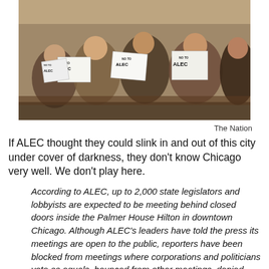[Figure (photo): Group of protesters holding up signs that read 'NO TO ALEC', sitting in what appears to be an indoor venue.]
The Nation
If ALEC thought they could slink in and out of this city under cover of darkness, they don't know Chicago very well. We don't play here.
According to ALEC, up to 2,000 state legislators and lobbyists are expected to be meeting behind closed doors inside the Palmer House Hilton in downtown Chicago. Although ALEC's leaders have told the press its meetings are open to the public, reporters have been blocked from meetings where corporations and politicians vote as equals, bounced from other meetings, denied credentials, and even threatened with arrest. -- Capitol Fax